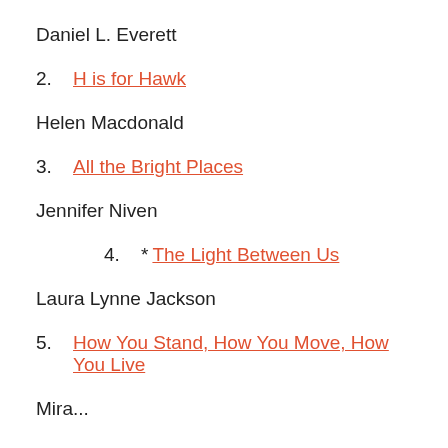Daniel L. Everett
2.  H is for Hawk
Helen Macdonald
3.  All the Bright Places
Jennifer Niven
4. * The Light Between Us
Laura Lynne Jackson
5.  How You Stand, How You Move, How You Live
Mira...